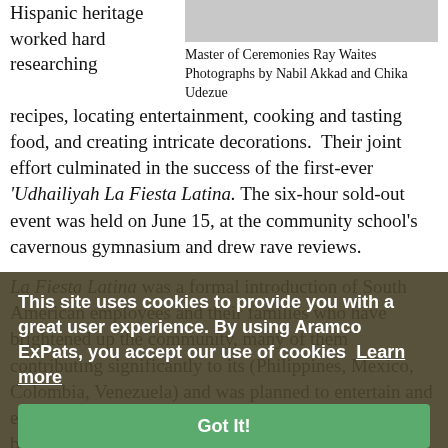Hispanic heritage worked hard researching
[Figure (photo): Partial photo of a person, gray/white background, cropped at top]
Master of Ceremonies Ray Waites Photographs by Nabil Akkad and Chika Udezue
recipes, locating entertainment, cooking and tasting food, and creating intricate decorations. Their joint effort culminated in the success of the first-ever ‘Udhailiyah La Fiesta Latina. The six-hour sold-out event was held on June 15, at the community school’s cavernous gymnasium and drew rave reviews.
La Fiesta Latina was a formal introduction of South American employees and their families who have brightened up the community, many of them contributing significantly to its (text continues behind overlay) Colombia, (text continues behind overlay) and was planned to entertain and educate. “We were received upon arrival at Udhailiyah by a community that seemed to be eagerly waiting for us and this is our way to say thank you,” said Jairo Leal, one of the organizers, in his opening remarks.
This site uses cookies to provide you with a great user experience. By using Aramco ExPats, you accept our use of cookies  Learn more
Got It!